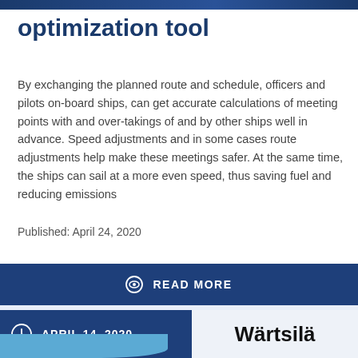optimization tool
By exchanging the planned route and schedule, officers and pilots on-board ships, can get accurate calculations of meeting points with and over-takings of and by other ships well in advance. Speed adjustments and in some cases route adjustments help make these meetings safer. At the same time, the ships can sail at a more even speed, thus saving fuel and reducing emissions
Published: April 24, 2020
READ MORE
APRIL 14, 2020
Wärtsilä